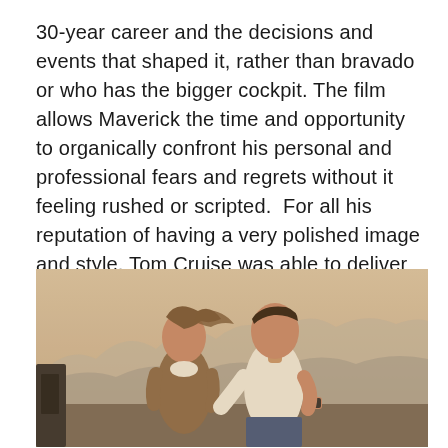30-year career and the decisions and events that shaped it, rather than bravado or who has the bigger cockpit. The film allows Maverick the time and opportunity to organically confront his personal and professional fears and regrets without it feeling rushed or scripted.  For all his reputation of having a very polished image and style, Tom Cruise was able to deliver one of the more nuanced and layered performances I have seen from him in a while.
[Figure (photo): A couple facing each other closely in warm golden light with misty mountains in the background. A woman with windswept hair wearing a brown jacket faces a man in a white t-shirt. They appear to be standing near a vehicle.]